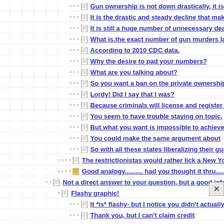Gun ownership is not down drastically, it is
It is the drastic and steady decline that makes it
It is still a huge number of unnecessary deaths.
What is.the exact number of gun murders last
According to 2010 CDC data.
Why the desire to pad your numbers?
What are you talking about?
So you want a ban on the private ownership of
Lordy! Did I say that I was?
Because criminals will license and register their
You seem to have trouble staying on topic.
But what you want is impossible to achieve.
You could make the same argument about
So with all these states liberalizing their gun
The restrictionistas would rather lick a New York
Good analogy.......... had you thought it thru.......
Not a direct answer to your question, but a good info graphic
Flashy graphic!
It *is* flashy- but I notice you didn't actually refute any of
Thank you, but I can't claim credit